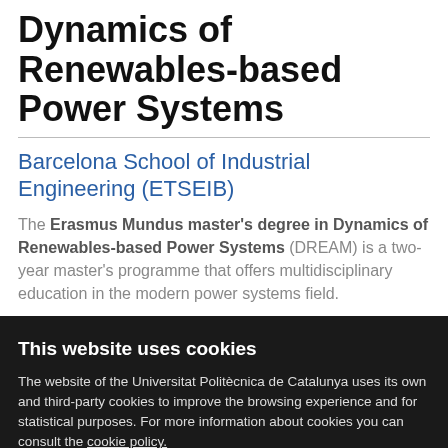Dynamics of Renewables-based Power Systems
Barcelona School of Industrial Engineering (ETSEIB)
The Erasmus Mundus master's degree in Dynamics of Renewables-based Power Systems (DREAM) is a two-year master's programme that offers multidisciplinary education in the modern power systems field.
This website uses cookies
The website of the Universitat Politècnica de Catalunya uses its own and third-party cookies to improve the browsing experience and for statistical purposes. For more information about cookies you can consult the cookie policy.